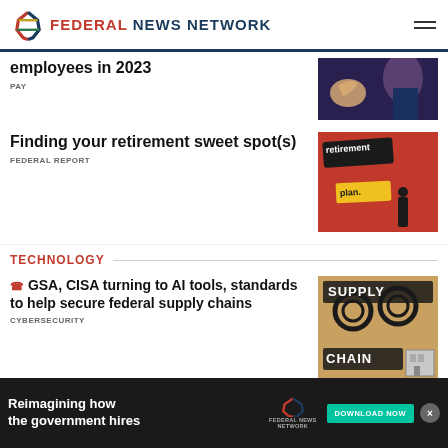FEDERAL NEWS NETWORK
employees in 2023
PAY
Finding your retirement sweet spot(s)
FEDERAL REPORT
TECHNOLOGY
GSA, CISA turning to AI tools, standards to help secure federal supply chains
CYBERSECURITY
Cyb... CMM...
CYBER...
Reimagining how the government hires